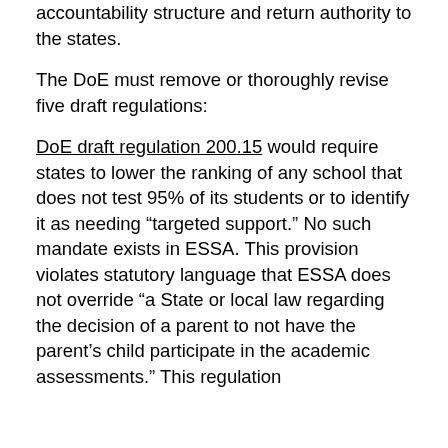accountability structure and return authority to the states.
The DoE must remove or thoroughly revise five draft regulations:
_DoE draft regulation 200.15_ would require states to lower the ranking of any school that does not test 95% of its students or to identify it as needing “targeted support.” No such mandate exists in ESSA. This provision violates statutory language that ESSA does not override “a State or local law regarding the decision of a parent to not have the parent’s child participate in the academic assessments.” This regulation